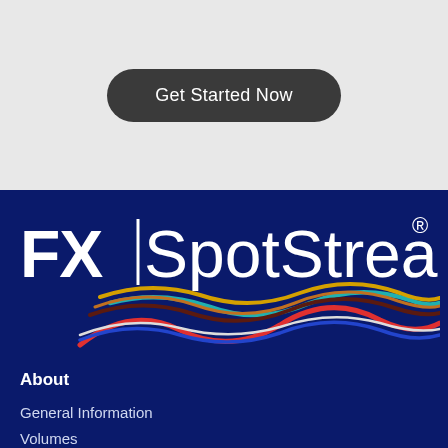[Figure (other): Dark rounded rectangle button with white text reading 'Get Started Now' on a light gray background]
[Figure (logo): FX|SpotStream logo with registered trademark symbol and colorful interweaving curved lines on dark navy blue background]
About
General Information
Volumes